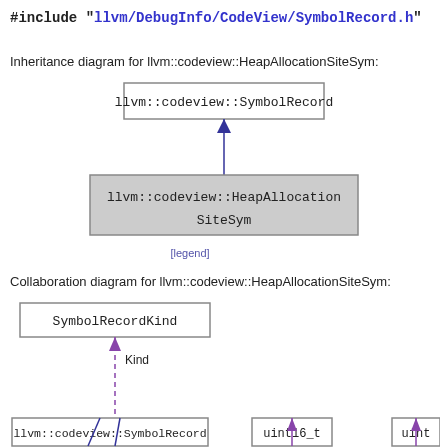#include "llvm/DebugInfo/CodeView/SymbolRecord.h"
Inheritance diagram for llvm::codeview::HeapAllocationSiteSym:
[Figure (organizational-chart): Inheritance diagram showing llvm::codeview::SymbolRecord as parent class with an arrow pointing down to llvm::codeview::HeapAllocationSiteSym (highlighted in gray)]
[legend]
Collaboration diagram for llvm::codeview::HeapAllocationSiteSym:
[Figure (organizational-chart): Collaboration diagram showing SymbolRecordKind at top connected via dashed purple arrow labeled 'Kind' down to llvm::codeview::HeapAllocationSiteSym (not shown, below page). llvm::codeview::SymbolRecord and uint16_t and another node at bottom.]